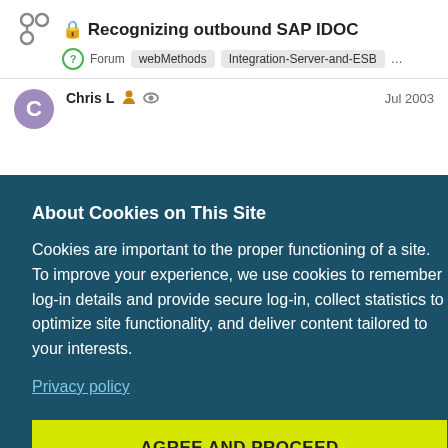Recognizing outbound SAP IDOC
Forum  webMethods  Integration-Server-and-ESB  ...
Chris L  Jul 2003
About Cookies on This Site
Cookies are important to the proper functioning of a site. To improve your experience, we use cookies to remember log-in details and provide secure log-in, collect statistics to optimize site functionality, and deliver content tailored to your interests.
Privacy policy
AGREE AND PROCEED
Jul 2003
Chris